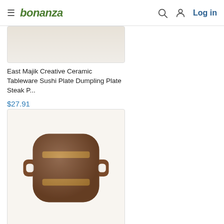bonanza | Log in
[Figure (photo): Partial product image of ceramic tableware plate (cropped at top)]
East Majik Creative Ceramic Tableware Sushi Plate Dumpling Plate Steak P...
$27.91
[Figure (photo): Brown ceramic steak plate with two horizontal lighter stripes and two side handles, viewed from above on white background]
East Majik Creative Ceramic Tableware Dumpling Plate Sushi Plate Steak P...